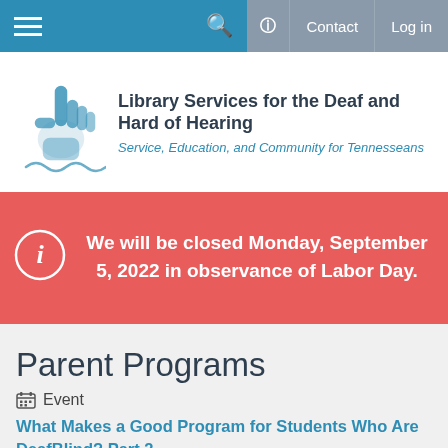Navigation bar with menu, search, help, Contact, Log in
[Figure (logo): Library Services for the Deaf and Hard of Hearing logo with hand sign illustration]
Library Services for the Deaf and Hard of Hearing
Service, Education, and Community for Tennesseans
We will be closed Monday, September 5, 2022 in observance of Labor Day.
Parent Programs
Event
What Makes a Good Program for Students Who Are DeafBlind? Part 2
Thu, Jan 28 2021